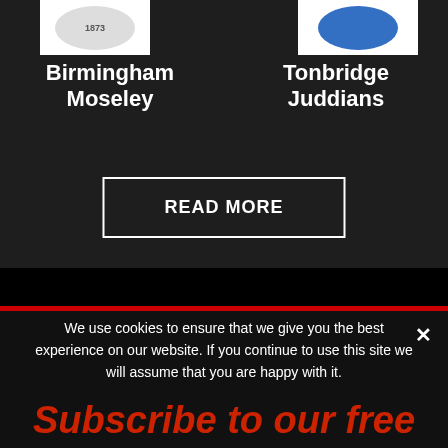[Figure (logo): Birmingham Moseley club logo (circular badge) on white background]
[Figure (logo): Tonbridge Juddians club logo (circular blue badge) on white background]
Birmingham Moseley
Tonbridge Juddians
READ MORE
We use cookies to ensure that we give you the best experience on our website. If you continue to use this site we will assume that you are happy with it.
OK
Subscribe to our free